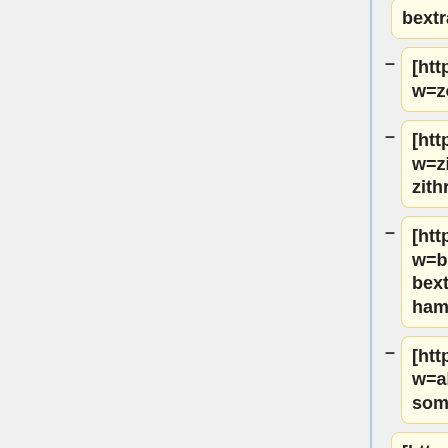bextra vioxx]
[http://blog.moddingplanet.it/?w=zocor zocor]
[http://blog.moddingplanet.it/?w=zithromax zithromax]
[http://blog.moddingplanet.it/?w=bextralawyer new bextra lawyer new hampshire]
[http://blog.moddingplanet.it/?w=akanesomaakane soma]
[http://blog.mod